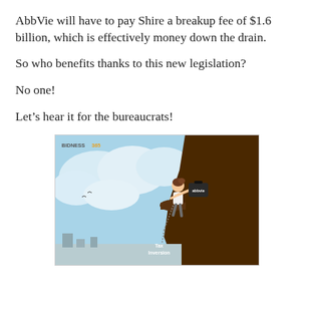AbbVie will have to pay Shire a breakup fee of $1.6 billion, which is effectively money down the drain.
So who benefits thanks to this new legislation?
No one!
Let’s hear it for the bureaucrats!
[Figure (illustration): Cartoon illustration of a person climbing a cliff while being weighed down by a ball and chain labeled 'Tax Inversion', holding a briefcase labeled 'abbvie'. A watermark reads 'BIDNESS365' in the upper left corner.]